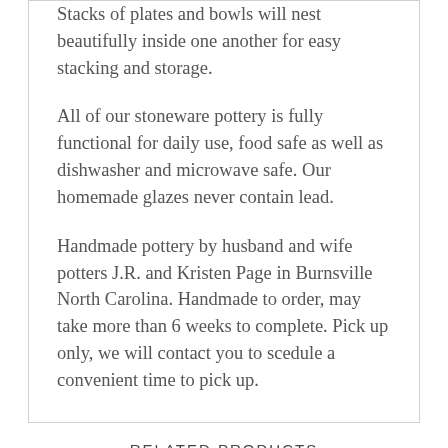Stacks of plates and bowls will nest beautifully inside one another for easy stacking and storage.
All of our stoneware pottery is fully functional for daily use, food safe as well as dishwasher and microwave safe. Our homemade glazes never contain lead.
Handmade pottery by husband and wife potters J.R. and Kristen Page in Burnsville North Carolina. Handmade to order, may take more than 6 weeks to complete. Pick up only, we will contact you to scedule a convenient time to pick up.
RELATED PRODUCTS
[Figure (photo): A ceramic bowl with a brown glaze and a knife or spreader tool resting on a wooden surface, viewed from above.]